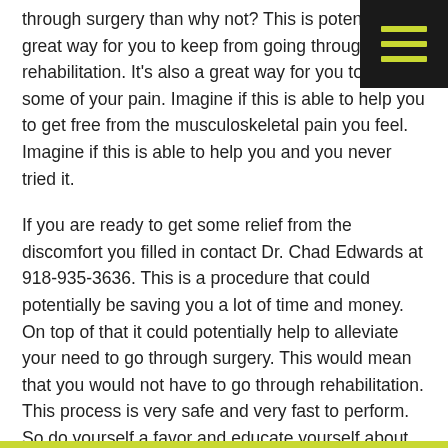through surgery than why not? This is potentially a great way for you to keep from going through rehabilitation. It’s also a great way for you to relieve some of your pain. Imagine if this is able to help you to get free from the musculoskeletal pain you feel. Imagine if this is able to help you and you never tried it.
If you are ready to get some relief from the discomfort you filled in contact Dr. Chad Edwards at 918-935-3636. This is a procedure that could potentially be saving you a lot of time and money. On top of that it could potentially help to alleviate your need to go through surgery. This would mean that you would not have to go through rehabilitation. This process is very safe and very fast to perform. So do yourself a favor and educate yourself about the benefits of prolotherapy. It could be the thing that you need.